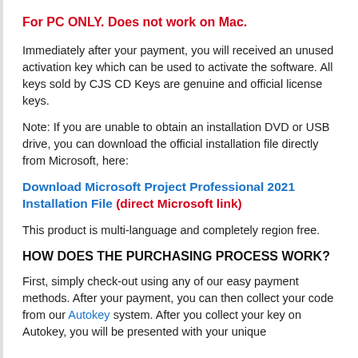For PC ONLY.  Does not work on Mac.
Immediately after your payment, you will received an unused activation key which can be used to activate the software.  All keys sold by CJS CD Keys are genuine and official license keys.
Note: If you are unable to obtain an installation DVD or USB drive, you can download the official installation file directly from Microsoft, here:
Download Microsoft Project Professional 2021 Installation File (direct Microsoft link)
This product is multi-language and completely region free.
HOW DOES THE PURCHASING PROCESS WORK?
First, simply check-out using any of our easy payment methods.  After your payment, you can then collect your code from our Autokey system.  After you collect your key on Autokey, you will be presented with your unique